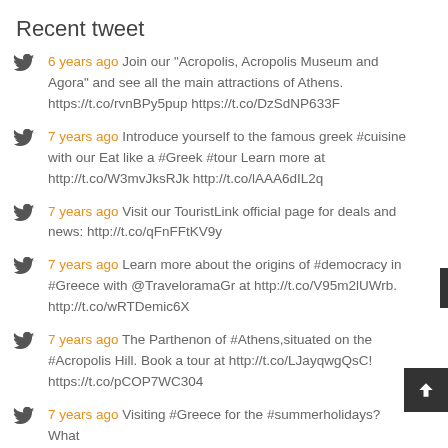Recent tweet
6 years ago Join our "Acropolis, Acropolis Museum and Agora" and see all the main attractions of Athens. https://t.co/rvnBPy5pup https://t.co/DzSdNP633F
7 years ago Introduce yourself to the famous greek #cuisine with our Eat like a #Greek #tour Learn more at http://t.co/W3mvJksRJk http://t.co/lAAA6dIL2q
7 years ago Visit our TouristLink official page for deals and news: http://t.co/qFnFFtKV9y
7 years ago Learn more about the origins of #democracy in #Greece with @TraveloramaGr at http://t.co/V95m2lUWrb. http://t.co/wRTDemic6X
7 years ago The Parthenon of #Athens,situated on the #Acropolis Hill. Book a tour at http://t.co/LJayqwgQsC! https://t.co/pCOP7WC304
7 years ago Visiting #Greece for the #summerholidays? What